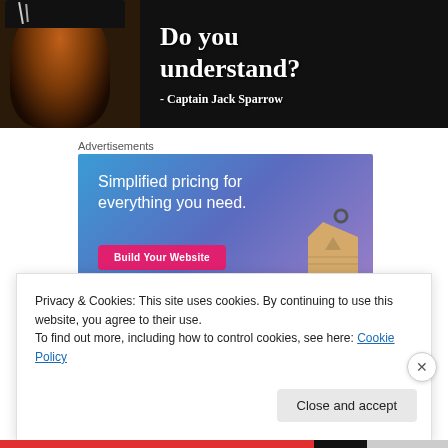[Figure (photo): Dark banner with Captain Jack Sparrow quote on black background with pirate figure on left side. Text reads 'Do you understand? - Captain Jack Sparrow']
Advertisements
[Figure (screenshot): Advertisement banner with blue-to-purple gradient background. Text: 'Simplified pricing for everything you need.' with a pink 'Build Your Website' button and a price tag image.]
Privacy & Cookies: This site uses cookies. By continuing to use this website, you agree to their use.
To find out more, including how to control cookies, see here: Cookie Policy
Close and accept